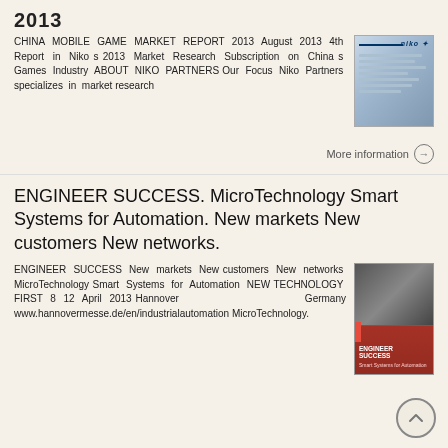2013
CHINA MOBILE GAME MARKET REPORT 2013 August 2013 4th Report in Niko s 2013 Market Research Subscription on China s Games Industry ABOUT NIKO PARTNERS Our Focus Niko Partners specializes in market research
[Figure (other): Book/report cover image with blue-grey gradient background and Niko Partners branding]
More information →
ENGINEER SUCCESS. MicroTechnology Smart Systems for Automation. New markets New customers New networks.
ENGINEER SUCCESS New markets New customers New networks MicroTechnology Smart Systems for Automation NEW TECHNOLOGY FIRST 8 12 April 2013 Hannover Germany www.hannovermesse.de/en/industrialautomation MicroTechnology.
[Figure (other): Red brochure/booklet cover for Engineer Success event at Hannover Messe with photo of people]